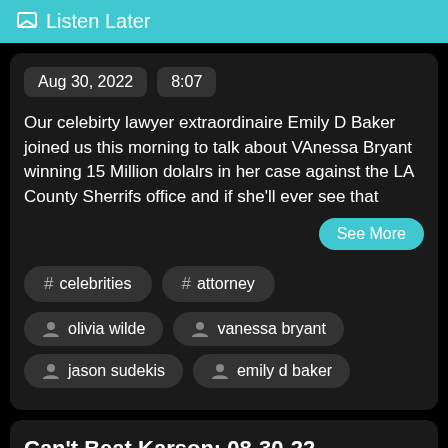Listen Later
Aug 30, 2022   8:07
Our celebirty lawyer extraordinaire Emily D Baker joined us this morning to talk about VAnessa Bryant winning 15 Million dolalrs in her case against the LA County Sherrifs office and if she'll ever see that
See More
# celebrities
# attorney
olivia wilde
vanessa bryant
jason sudekis
emily d baker
Can't Beat Karson: 08-30-22